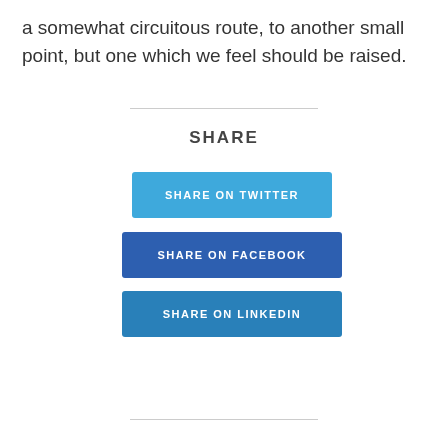a somewhat circuitous route, to another small point, but one which we feel should be raised.
SHARE
SHARE ON TWITTER
SHARE ON FACEBOOK
SHARE ON LINKEDIN